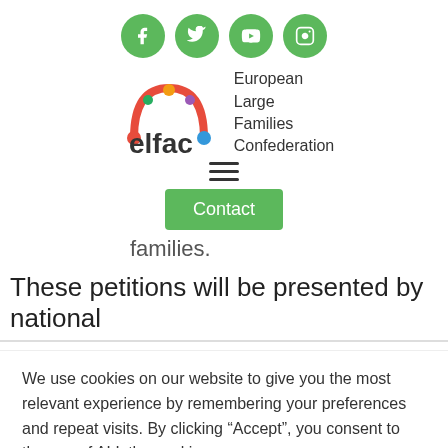[Figure (infographic): Row of four green circular social media icons: Facebook, Twitter, YouTube, Instagram]
[Figure (logo): ELFAC logo — colorful arc with figures and text 'elfac' beside 'European Large Families Confederation']
[Figure (other): Hamburger menu icon (three horizontal lines)]
[Figure (other): Green 'Contact' button]
families.
These petitions will be presented by national
We use cookies on our website to give you the most relevant experience by remembering your preferences and repeat visits. By clicking “Accept”, you consent to the use of ALL the cookies.
Cookie settings
ACCEPT